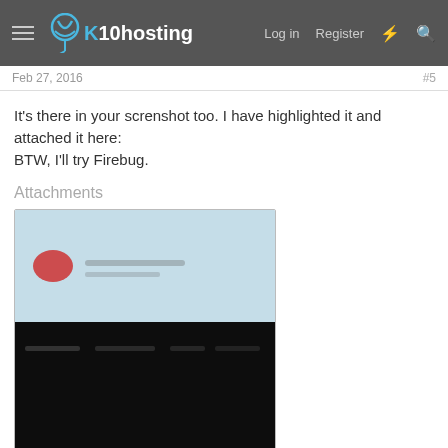x10hosting — Log in  Register
Feb 27, 2016
It's there in your screnshot too. I have highlighted it and attached it here:
BTW, I'll try Firebug.
Attachments
[Figure (screenshot): A blurred screenshot thumbnail showing a light blue top portion with a red highlighted element and some blurred text, and a dark bottom half with partially visible text. Labeled '435..PNG' at the bottom left.]
marshian